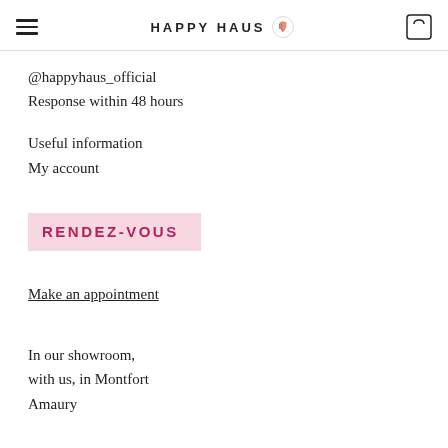HAPPY HAUS
@happyhaus_official
Response within 48 hours
Useful information
My account
RENDEZ-VOUS
Make an appointment
In our showroom, with us, in Montfort Amaury